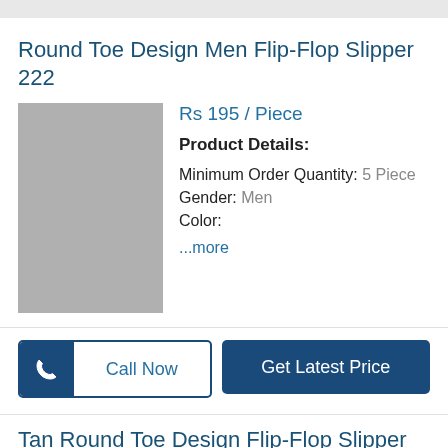Round Toe Design Men Flip-Flop Slipper 222
[Figure (photo): Gray placeholder image of product]
Rs 195 / Piece
Product Details:
Minimum Order Quantity: 5 Piece
Gender: Men
Color:
...more
Call Now
Get Latest Price
Tan Round Toe Design Flip-Flop Slipper 221